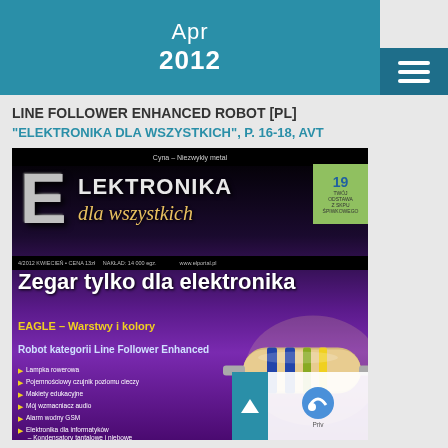Apr
2012
LINE FOLLOWER ENHANCED ROBOT [PL]
"ELEKTRONIKA DLA WSZYSTKICH", P. 16-18, AVT
[Figure (photo): Magazine cover of 'Elektronika dla wszystkich' April 2012, issue 4/2012. Dark purple/black background with 3D metallic 'E' logo, showing headlines: 'Zegar tylko dla elektronika', 'EAGLE – Warstwy i kolory', 'Robot kategorii Line Follower Enhanced', with bullet list of articles and a large decorative resistor image on the right side.]